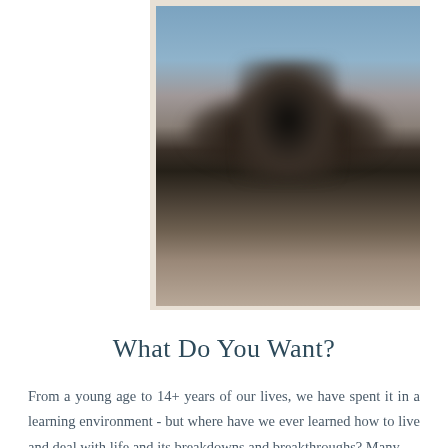[Figure (photo): Blurred outdoor photograph showing dark figures or objects against a sandy/earthy ground with a blue-grey sky in the background, with a beige/cream border panel on the left side]
What Do You Want?
From a young age to 14+ years of our lives, we have spent it in a learning environment - but where have we ever learned how to live and deal with life and its breakdowns and breakthroughs? Many